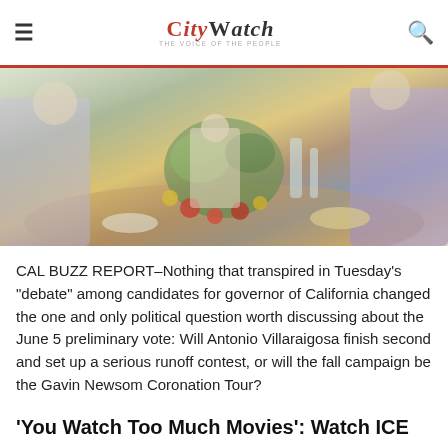CityWatch
[Figure (photo): People gathered around a table with food and flowers, a festive dinner scene.]
CAL BUZZ REPORT–Nothing that transpired in Tuesday's "debate" among candidates for governor of California changed the one and only political question worth discussing about the June 5 preliminary vote: Will Antonio Villaraigosa finish second and set up a serious runoff contest, or will the fall campaign be the Gavin Newsom Coronation Tour?
'You Watch Too Much Movies': Watch ICE